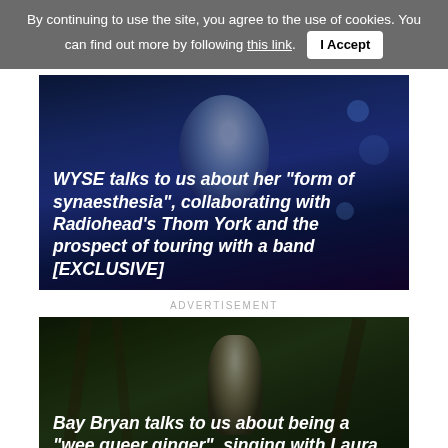By continuing to use the site, you agree to the use of cookies. You can find out more by following this link. I Accept
[Figure (photo): Blue-tinted photo of a performer (WYSE) with blurred bokeh lights in background]
WYSE talks to us about her "form of synaesthesia", collaborating with Radiohead's Thom York and the prospect of touring with a band [EXCLUSIVE]
ADVERTISEMENT
[Figure (photo): Dark photo of Bay Bryan among tree roots/branches in a forest setting]
Bay Bryan talks to us about being a "wee queer ginger", singing with Laura Marling